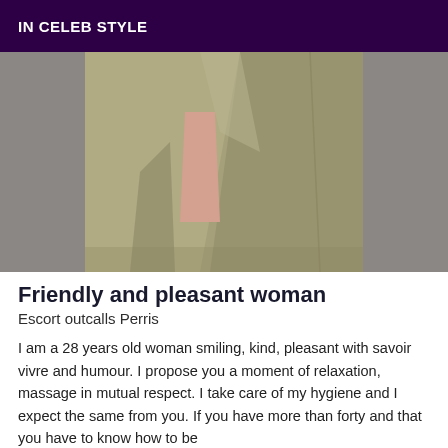IN CELEB STYLE
[Figure (photo): Close-up photo of a person wearing a khaki/olive green dress or skirt, showing the torso and lower body area. Background is grey fabric.]
Friendly and pleasant woman
Escort outcalls Perris
I am a 28 years old woman smiling, kind, pleasant with savoir vivre and humour. I propose you a moment of relaxation, massage in mutual respect. I take care of my hygiene and I expect the same from you. If you have more than forty and that you have to know how to be